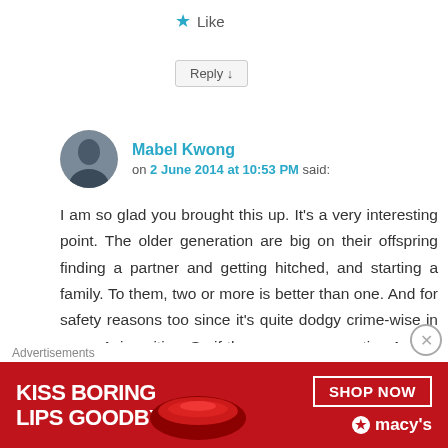★ Like
Reply ↓
Mabel Kwong on 2 June 2014 at 10:53 PM said:
I am so glad you brought this up. It's a very interesting point. The older generation are big on their offspring finding a partner and getting hitched, and starting a family. To them, two or more is better than one. And for safety reasons too since it's quite dodgy crime-wise in some Asian cities. So if the younger generation Asians like me – and you??? – say
Advertisements
[Figure (photo): Macy's advertisement banner: KISS BORING LIPS GOODBYE with SHOP NOW button and Macy's star logo, featuring red lips photo]